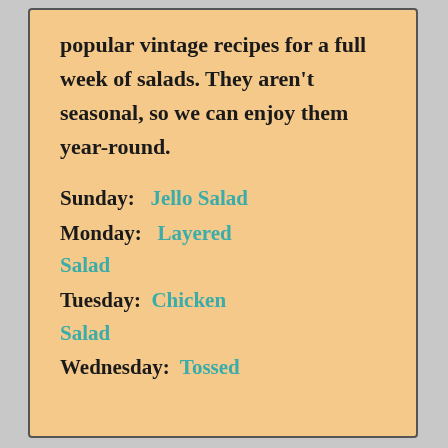popular vintage recipes for a full week of salads. They aren't seasonal, so we can enjoy them year-round.
Sunday:   Jello Salad
Monday:   Layered Salad
Tuesday:  Chicken Salad
Wednesday:  Tossed Salad